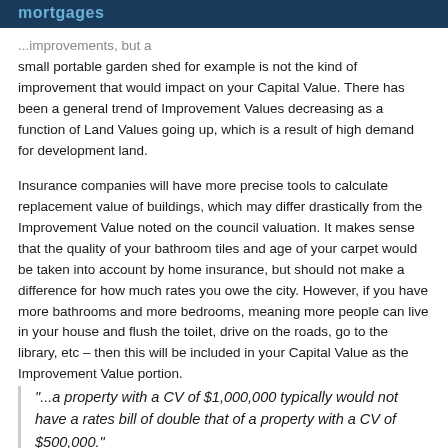mortgages
...improvements, but a small portable garden shed for example is not the kind of improvement that would impact on your Capital Value. There has been a general trend of Improvement Values decreasing as a function of Land Values going up, which is a result of high demand for development land.
Insurance companies will have more precise tools to calculate replacement value of buildings, which may differ drastically from the Improvement Value noted on the council valuation. It makes sense that the quality of your bathroom tiles and age of your carpet would be taken into account by home insurance, but should not make a difference for how much rates you owe the city. However, if you have more bathrooms and more bedrooms, meaning more people can live in your house and flush the toilet, drive on the roads, go to the library, etc – then this will be included in your Capital Value as the Improvement Value portion.
"...a property with a CV of $1,000,000 typically would not have a rates bill of double that of a property with a CV of $500,000."